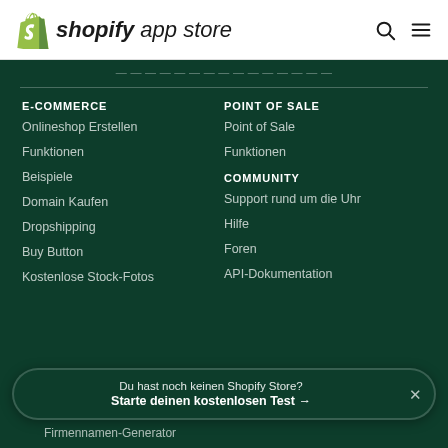shopify app store
E-COMMERCE
Onlineshop Erstellen
Funktionen
Beispiele
Domain Kaufen
Dropshipping
Buy Button
Kostenlose Stock-Fotos
POINT OF SALE
Point of Sale
Funktionen
COMMUNITY
Support rund um die Uhr
Hilfe
Foren
API-Dokumentation
Du hast noch keinen Shopify Store? Starte deinen kostenlosen Test →
Firmennamen-Generator